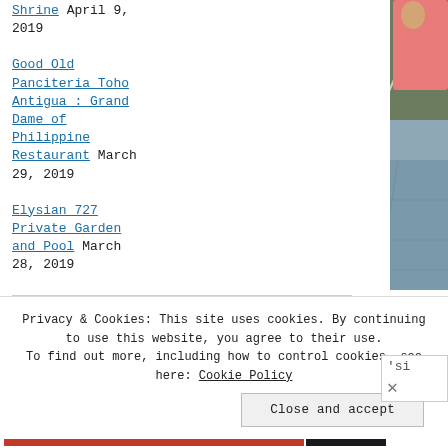Shrine April 9, 2019
Good Old Panciteria Toho Antigua : Grand Dame of Philippine Restaurant March 29, 2019
Elysian 727 Private Garden and Pool March 28, 2019
[Figure (photo): Outdoor photo showing tropical plants and people on a blue-grey tiled surface with metal railings]
FlagCounter
Privacy & Cookies: This site uses cookies. By continuing to use this website, you agree to their use. To find out more, including how to control cookies, see here: Cookie Policy
Close and accept